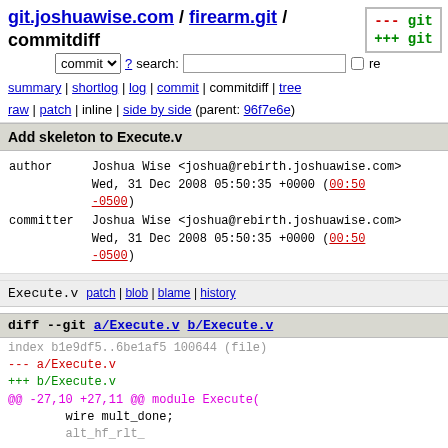git.joshuawise.com / firearm.git / commitdiff
commit ? search: re
summary | shortlog | log | commit | commitdiff | tree
raw | patch | inline | side by side (parent: 96f7e6e)
Add skeleton to Execute.v
author    Joshua Wise <joshua@rebirth.joshuawise.com>
          Wed, 31 Dec 2008 05:50:35 +0000 (00:50 -0500)
committer Joshua Wise <joshua@rebirth.joshuawise.com>
          Wed, 31 Dec 2008 05:50:35 +0000 (00:50 -0500)
Execute.v   patch | blob | blame | history
diff --git a/Execute.v b/Execute.v
index b1e9df5..6be1af5 100644 (file)
--- a/Execute.v
+++ b/Execute.v
@@ -27,10 +27,11 @@ module Execute(
     wire mult_done;